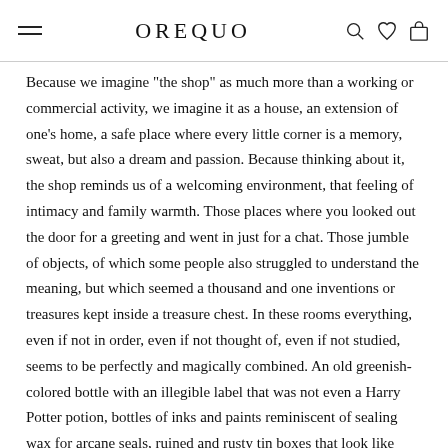OREQUO
Because we imagine "the shop" as much more than a working or commercial activity, we imagine it as a house, an extension of one's home, a safe place where every little corner is a memory, sweat, but also a dream and passion. Because thinking about it, the shop reminds us of a welcoming environment, that feeling of intimacy and family warmth. Those places where you looked out the door for a greeting and went in just for a chat. Those jumble of objects, of which some people also struggled to understand the meaning, but which seemed a thousand and one inventions or treasures kept inside a treasure chest. In these rooms everything, even if not in order, even if not thought of, even if not studied, seems to be perfectly and magically combined. An old greenish-colored bottle with an illegible label that was not even a Harry Potter potion, bottles of inks and paints reminiscent of sealing wax for arcane seals, ruined and rusty tin boxes that look like caskets, small parts